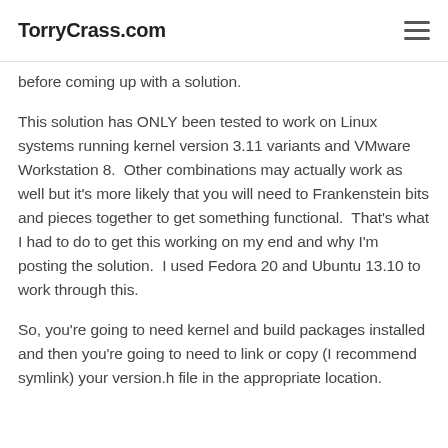TorryCrass.com
before coming up with a solution.
This solution has ONLY been tested to work on Linux systems running kernel version 3.11 variants and VMware Workstation 8.  Other combinations may actually work as well but it's more likely that you will need to Frankenstein bits and pieces together to get something functional.  That's what I had to do to get this working on my end and why I'm posting the solution.  I used Fedora 20 and Ubuntu 13.10 to work through this.
So, you're going to need kernel and build packages installed and then you're going to need to link or copy (I recommend symlink) your version.h file in the appropriate location.